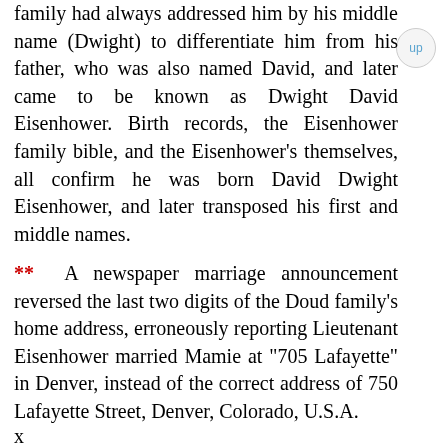family had always addressed him by his middle name (Dwight) to differentiate him from his father, who was also named David, and later came to be known as Dwight David Eisenhower. Birth records, the Eisenhower family bible, and the Eisenhower's themselves, all confirm he was born David Dwight Eisenhower, and later transposed his first and middle names.
** A newspaper marriage announcement reversed the last two digits of the Doud family's home address, erroneously reporting Lieutenant Eisenhower married Mamie at "705 Lafayette" in Denver, instead of the correct address of 750 Lafayette Street, Denver, Colorado, U.S.A.
*** A couple of sources have confused Earl Dewey Eisenhower's year and place of death with both Milton Eisenhower and John Sheldon Doud Eisenhower. Consequently, you may find both John and Milton erroneously listed as having died in 1968, when, in point of fact, they both lived